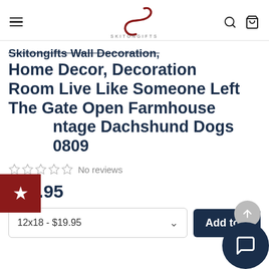SKITONGIFTS (navigation bar with logo, hamburger menu, search and cart icons)
Skitongifts Wall Decoration, Home Decor, Decoration Room Live Like Someone Left The Gate Open Farmhouse Vintage Dachshund Dogs HO0809
No reviews
$19.95
12x18 - $19.95
Add to